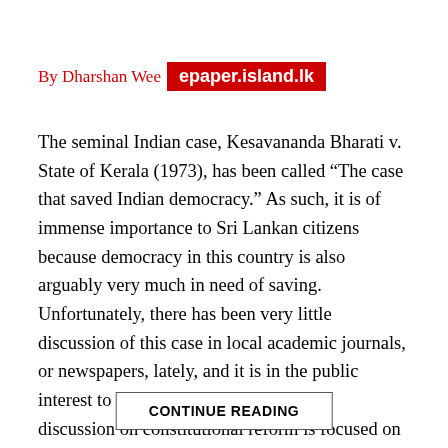By Dharshan Wee epaper.island.lk
The seminal Indian case, Kesavananda Bharati v. State of Kerala (1973), has been called “The case that saved Indian democracy.” As such, it is of immense importance to Sri Lankan citizens because democracy in this country is also arguably very much in need of saving. Unfortunately, there has been very little discussion of this case in local academic journals, or newspapers, lately, and it is in the public interest to start one. Today, much of the discussion on constitutional reform is focused on whether or not to abolish the executive presidency.
CONTINUE READING